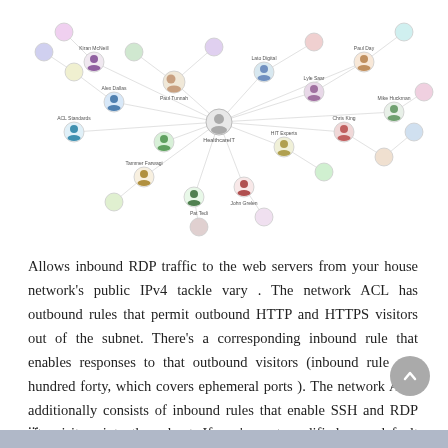[Figure (network-graph): A network graph/social network diagram showing interconnected nodes with profile photos and names/labels, representing connections between various people and organizations related to healthcare IT topics.]
Allows inbound RDP traffic to the web servers from your house network's public IPv4 tackle vary . The network ACL has outbound rules that permit outbound HTTP and HTTPS visitors out of the subnet. There's a corresponding inbound rule that enables responses to that outbound visitors (inbound rule one hundred forty, which covers ephemeral ports ). The network ACL additionally consists of inbound rules that enable SSH and RDP site visitors into the subnet. If you've got modified your default network ACL's inbound rules, we
...